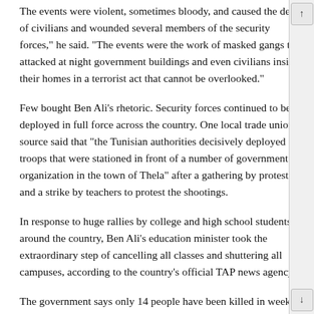The events were violent, sometimes bloody, and caused the death of civilians and wounded several members of the security forces," he said. "The events were the work of masked gangs that attacked at night government buildings and even civilians inside their homes in a terrorist act that cannot be overlooked."
Few bought Ben Ali's rhetoric. Security forces continued to be deployed in full force across the country. One local trade union source said that "the Tunisian authorities decisively deployed troops that were stationed in front of a number of government organization in the town of Thela" after a gathering by protesters and a strike by teachers to protest the shootings.
In response to huge rallies by college and high school students around the country, Ben Ali's education minister took the extraordinary step of cancelling all classes and shuttering all campuses, according to the country's official TAP news agency.
The government says only 14 people have been killed in weeks of violence across the country.
Tunisia's worst political violence in decades erupted after a 26-year-old street vendor named Mohamed Bouazizi attempted to commit suicide